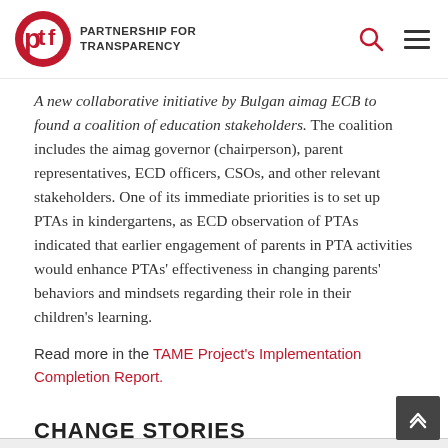PARTNERSHIP FOR TRANSPARENCY
A new collaborative initiative by Bulgan aimag ECB to found a coalition of education stakeholders. The coalition includes the aimag governor (chairperson), parent representatives, ECD officers, CSOs, and other relevant stakeholders. One of its immediate priorities is to set up PTAs in kindergartens, as ECD observation of PTAs indicated that earlier engagement of parents in PTA activities would enhance PTAs' effectiveness in changing parents' behaviors and mindsets regarding their role in their children's learning.
Read more in the TAME Project's Implementation Completion Report.
CHANGE STORIES